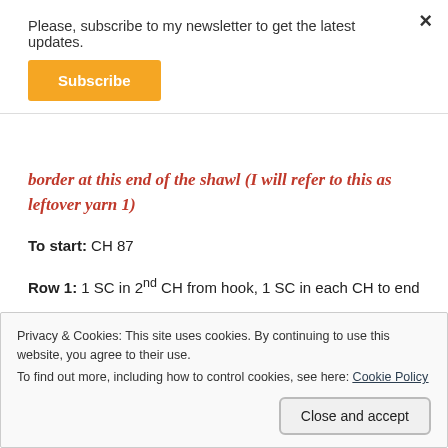Please, subscribe to my newsletter to get the latest updates.
Subscribe
border at this end of the shawl (I will refer to this as leftover yarn 1)
To start: CH 87
Row 1: 1 SC in 2nd CH from hook, 1 SC in each CH to end
TURN
Privacy & Cookies: This site uses cookies. By continuing to use this website, you agree to their use.
To find out more, including how to control cookies, see here: Cookie Policy
Close and accept